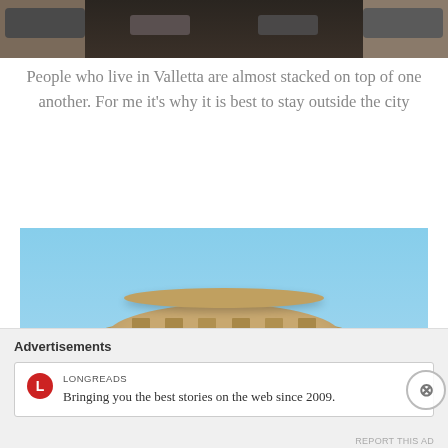[Figure (photo): Street scene in Valletta with cars and buildings viewed from above, dark urban scene]
People who live in Valletta are almost stacked on top of one another. For me it’s why it is best to stay outside the city
[Figure (photo): Close-up of a round classical stone tower or rotunda with columns against a blue sky, likely in Valletta Malta]
Advertisements
[Figure (logo): Longreads logo - red circle with L]
LONGREADS
Bringing you the best stories on the web since 2009.